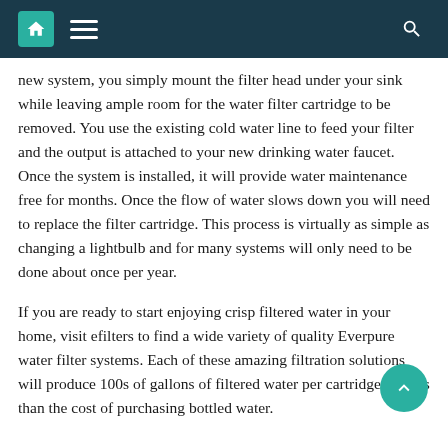Navigation bar with home, menu, and search icons
new system, you simply mount the filter head under your sink while leaving ample room for the water filter cartridge to be removed. You use the existing cold water line to feed your filter and the output is attached to your new drinking water faucet. Once the system is installed, it will provide water maintenance free for months. Once the flow of water slows down you will need to replace the filter cartridge. This process is virtually as simple as changing a lightbulb and for many systems will only need to be done about once per year.
If you are ready to start enjoying crisp filtered water in your home, visit efilters to find a wide variety of quality Everpure water filter systems. Each of these amazing filtration solutions will produce 100s of gallons of filtered water per cartridge for less than the cost of purchasing bottled water.